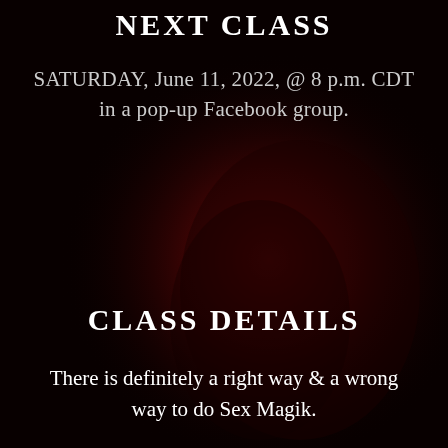NEXT CLASS
SATURDAY, June 11, 2022, @ 8 p.m. CDT in a pop-up Facebook group.
CLASS DETAILS
There is definitely a right way & a wrong way to do Sex Magik.
But once you learn some basic rules & techniques, your ability to manifest with